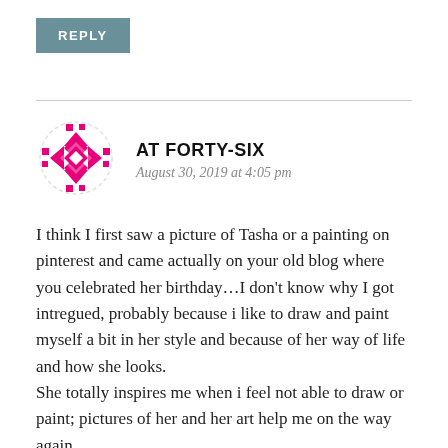REPLY
[Figure (illustration): Decorative avatar icon with pink geometric quilt-like pattern in a dashed circular border]
AT FORTY-SIX
August 30, 2019 at 4:05 pm
I think I first saw a picture of Tasha or a painting on pinterest and came actually on your old blog where you celebrated her birthday…I don't know why I got intregued, probably because i like to draw and paint myself a bit in her style and because of her way of life and how she looks.
She totally inspires me when i feel not able to draw or paint; pictures of her and her art help me on the way again.
On Tasha day I sat myself outside in our garden with a cup of tea with a splash of milk and a cookie and